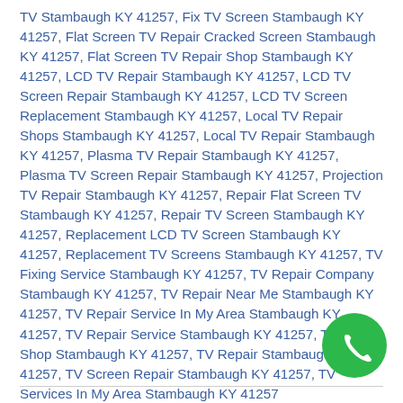TV Stambaugh KY 41257, Fix TV Screen Stambaugh KY 41257, Flat Screen TV Repair Cracked Screen Stambaugh KY 41257, Flat Screen TV Repair Shop Stambaugh KY 41257, LCD TV Repair Stambaugh KY 41257, LCD TV Screen Repair Stambaugh KY 41257, LCD TV Screen Replacement Stambaugh KY 41257, Local TV Repair Shops Stambaugh KY 41257, Local TV Repair Stambaugh KY 41257, Plasma TV Repair Stambaugh KY 41257, Plasma TV Screen Repair Stambaugh KY 41257, Projection TV Repair Stambaugh KY 41257, Repair Flat Screen TV Stambaugh KY 41257, Repair TV Screen Stambaugh KY 41257, Replacement LCD TV Screen Stambaugh KY 41257, Replacement TV Screens Stambaugh KY 41257, TV Fixing Service Stambaugh KY 41257, TV Repair Company Stambaugh KY 41257, TV Repair Near Me Stambaugh KY 41257, TV Repair Service In My Area Stambaugh KY 41257, TV Repair Service Stambaugh KY 41257, TV Repair Shop Stambaugh KY 41257, TV Repair Stambaugh KY 41257, TV Screen Repair Stambaugh KY 41257, TV Services In My Area Stambaugh KY 41257
[Figure (other): Green circular phone/call button icon in bottom-right corner]